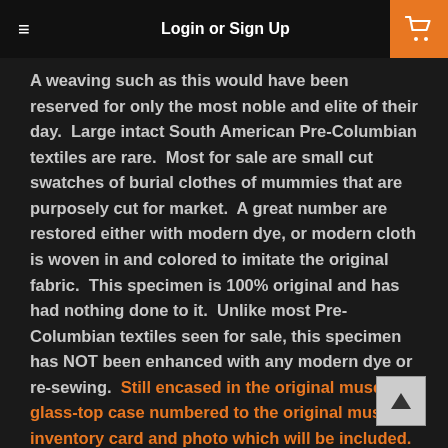Login or Sign Up
A weaving such as this would have been reserved for only the most noble and elite of their day. Large intact South American Pre-Columbian textiles are rare. Most for sale are small cut swatches of burial clothes of mummies that are purposely cut for market. A great number are restored either with modern dye, or modern cloth is woven in and colored to imitate the original fabric. This specimen is 100% original and has had nothing done to it. Unlike most Pre-Columbian textiles seen for sale, this specimen has NOT been enhanced with any modern dye or re-sewing. Still encased in the original museum glass-top case numbered to the original museum inventory card and photo which will be included. This spectacular and luxurious ancient textile also comes with a letter from the museum documenting the decommission sale.
Anyone that has been collecting artifacts for a while knows how rare it is for a museum to de-commission a piece from their collection and offer it on the public market. This is one of those very rare opportunities for not only collectors, but for